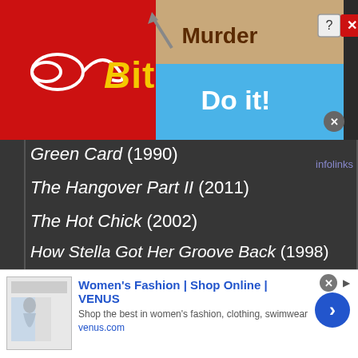[Figure (screenshot): BitLife mobile game advertisement banner with red background and yellow logo]
[Figure (advertisement): Murder - Do it! game overlay ad]
Green Card (1990)
The Hangover Part II (2011)
The Hot Chick (2002)
How Stella Got Her Groove Back (1998)
In Bruges (2008)
Incarnate (2016)
Jaws (1975)
Jaws 2 (1978)
Jaws 3-D (1983)
Jaws: The Revenge (1987)
...in Tucker Must Die (2006)
[Figure (advertisement): Women's Fashion | Shop Online | VENUS - bottom banner ad]